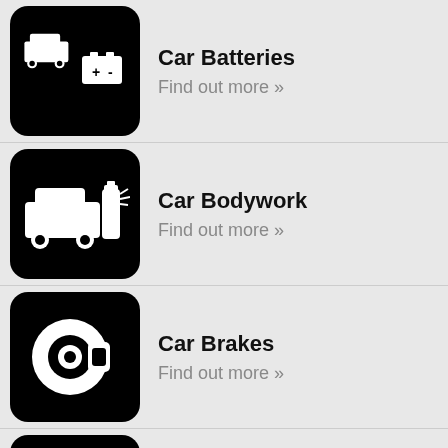Car Batteries
Find out more »
Car Bodywork
Find out more »
Car Brakes
Find out more »
Car Bulbs
Find out more »
Car Collection & Delivery
Find out more »
Car Exhausts